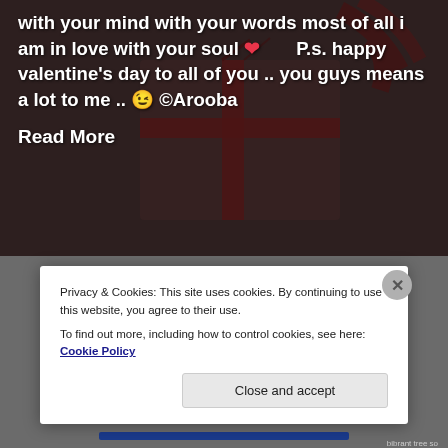[Figure (screenshot): Background image showing a gift box with a dark red ribbon, partially obscured by semi-transparent dark overlay, with white bold text overlay and a 'Read More' link]
with your mind with your words most of all i am in love with your soul ❤️        P.s. happy valentine's day to all of you .. you guys means a lot to me .. 😉 ©Arooba
Read More
[Figure (screenshot): Dark grey background section with partially visible white bold text title and a diagonal stamp-style text overlay, behind a cookie consent banner]
Privacy & Cookies: This site uses cookies. By continuing to use this website, you agree to their use.
To find out more, including how to control cookies, see here: Cookie Policy
Close and accept